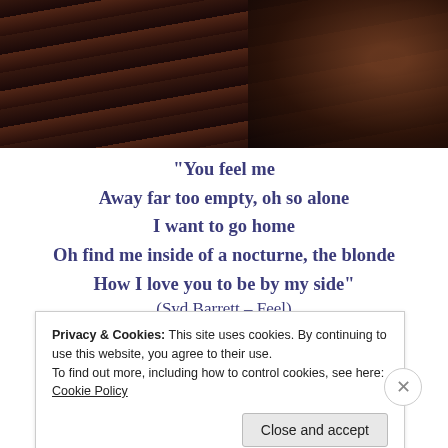[Figure (photo): Dark striped background photo, likely a dimly lit room with a striped surface and dark objects, reddish-brown tones]
“You feel me
Away far too empty, oh so alone
I want to go home
Oh find me inside of a nocturne, the blonde
How I love you to be by my side”
(Syd Barrett – Feel)
Privacy & Cookies: This site uses cookies. By continuing to use this website, you agree to their use.
To find out more, including how to control cookies, see here: Cookie Policy